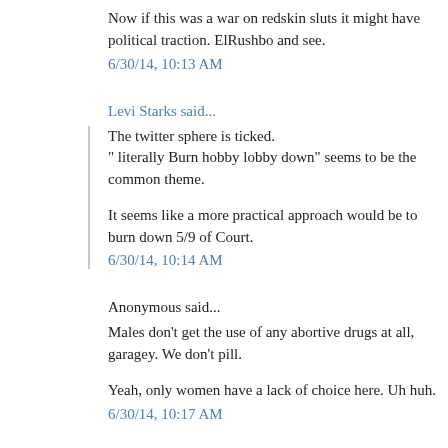Now if this was a war on redskin sluts it might have political traction. ElRushbo and see.
6/30/14, 10:13 AM
Levi Starks said...
The twitter sphere is ticked.
" literally Burn hobby lobby down" seems to be the common theme.
It seems like a more practical approach would be to burn down 5/9 of Court.
6/30/14, 10:14 AM
Anonymous said...
Males don't get the use of any abortive drugs at all, garagey. We don't pill.
Yeah, only women have a lack of choice here. Uh huh.
6/30/14, 10:17 AM